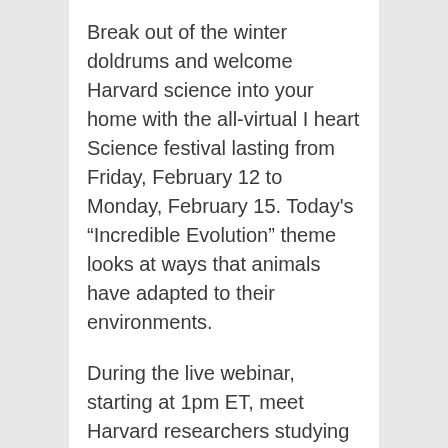Break out of the winter doldrums and welcome Harvard science into your home with the all-virtual I heart Science festival lasting from Friday, February 12 to Monday, February 15. Today’s “Incredible Evolution” theme looks at ways that animals have adapted to their environments.
During the live webinar, starting at 1pm ET, meet Harvard researchers studying how brains evolve and how stress can enhance performance.